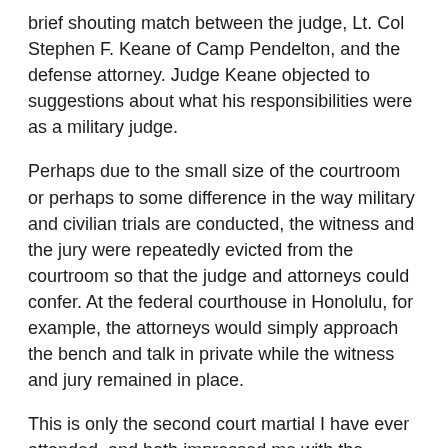brief shouting match between the judge, Lt. Col Stephen F. Keane of Camp Pendelton, and the defense attorney. Judge Keane objected to suggestions about what his responsibilities were as a military judge.
Perhaps due to the small size of the courtroom or perhaps to some difference in the way military and civilian trials are conducted, the witness and the jury were repeatedly evicted from the courtroom so that the judge and attorneys could confer. At the federal courthouse in Honolulu, for example, the attorneys would simply approach the bench and talk in private while the witness and jury remained in place.
This is only the second court martial I have ever attended, and both impressed me with the precision with which they were conducted. The questioning of witnesses was efficient. The jury is composed of educated peers of the accused and was allowed to ask questions if passed in writing to the judge.
This third and last trial should be the longest and could be the most complicated for a jury to evaluate. It involves physical contact between Orozco and Low, so that Low, the